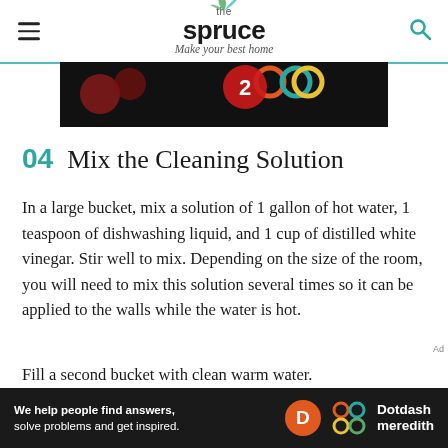the spruce — Make your best home
[Figure (photo): Dark banner advertisement with colorful circular graphics on black background]
04 Mix the Cleaning Solution
In a large bucket, mix a solution of 1 gallon of hot water, 1 teaspoon of dishwashing liquid, and 1 cup of distilled white vinegar. Stir well to mix. Depending on the size of the room, you will need to mix this solution several times so it can be applied to the walls while the water is hot.
Fill a second bucket with clean warm water.
[Figure (other): Dotdash Meredith advertisement banner: We help people find answers, solve problems and get inspired.]